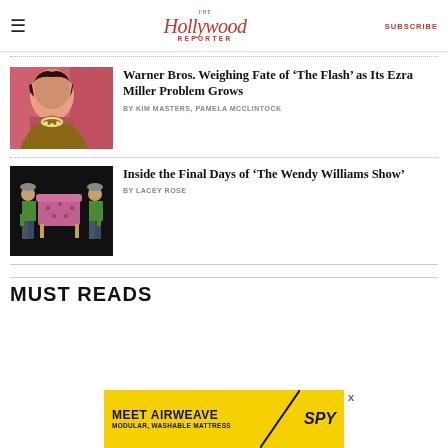The Hollywood Reporter | SUBSCRIBE
Warner Bros. Weighing Fate of 'The Flash' as Its Ezra Miller Problem Grows
BY KIM MASTERS, PAMELA MCCLINTOCK
Inside the Final Days of 'The Wendy Williams Show'
BY LACEY ROSE
MUST READS
[Figure (other): Advertisement banner: MEET AIRWEAVE MODULAR, WASHABLE MATTRESS / SPY]
[Figure (photo): Photo of Ezra Miller at an event, wearing fur coat and jewelry]
[Figure (photo): Two men in green shirts carrying a pink tufted armchair against a black background]